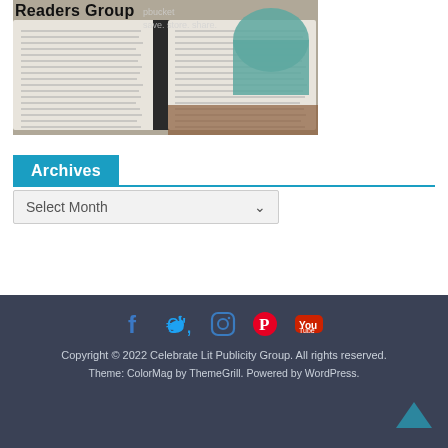[Figure (photo): Photo of an open book with a teal mug in the background, partially overlaid with 'Readers Group' text and a Photobucket watermark reading 'save. store. share.']
Archives
Select Month
Copyright © 2022 Celebrate Lit Publicity Group. All rights reserved.
Theme: ColorMag by ThemeGrill. Powered by WordPress.